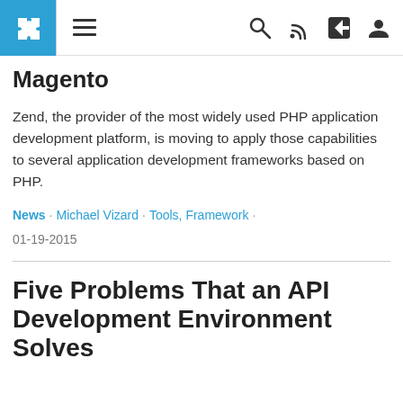Navigation bar with logo, hamburger menu, search, RSS, share, and user icons
Magento
Zend, the provider of the most widely used PHP application development platform, is moving to apply those capabilities to several application development frameworks based on PHP.
News · Michael Vizard · Tools, Framework · 01-19-2015
Five Problems That an API Development Environment Solves